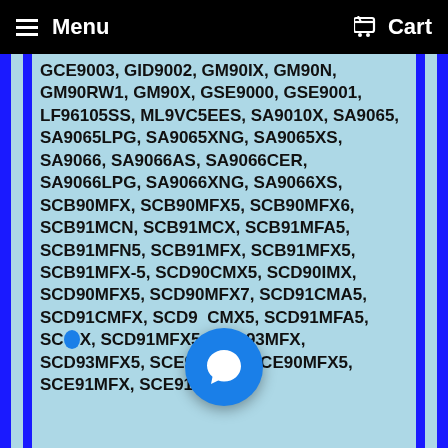Menu   Cart
GCE9003, GID9002, GM90IX, GM90N, GM90RW1, GM90X, GSE9000, GSE9001, LF96105SS, ML9VC5EES, SA9010X, SA9065, SA9065LPG, SA9065XNG, SA9065XS, SA9066, SA9066AS, SA9066CER, SA9066LPG, SA9066XNG, SA9066XS, SCB90MFX, SCB90MFX5, SCB90MFX6, SCB91MCN, SCB91MCX, SCB91MFA5, SCB91MFN5, SCB91MFX, SCB91MFX5, SCB91MFX-5, SCD90CMX5, SCD90IMX, SCD90MFX5, SCD90MFX7, SCD91CMA5, SCD91CMFX, SCD91CMX5, SCD91MFA5, SCD91MMFX, SCD91MFX5, SCD93MFX, SCD93MFX5, SCE90MFX, SCE90MFX5, SCE91MFX, SCE91MFX5,